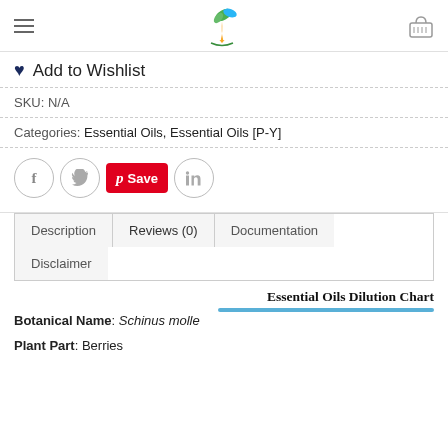Navigation header with hamburger menu, logo, and cart icon
♥ Add to Wishlist
SKU: N/A
Categories: Essential Oils, Essential Oils [P-Y]
[Figure (other): Social share buttons: Facebook circle, Twitter circle, Pinterest Save button (red), LinkedIn circle]
Description | Reviews (0) | Documentation | Disclaimer (tab navigation)
Essential Oils Dilution Chart
Botanical Name: Schinus molle
Plant Part: Berries